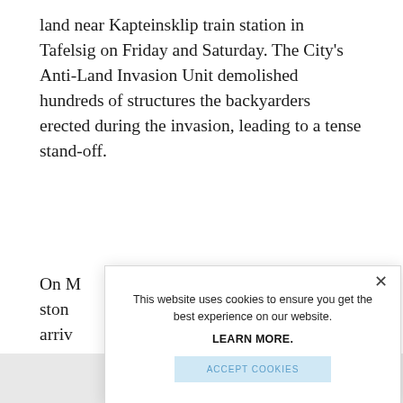land near Kapteinsklip train station in Tafelsig on Friday and Saturday. The City's Anti-Land Invasion Unit demolished hundreds of structures the backyarders erected during the invasion, leading to a tense stand-off.
On M... ston... arriv... and...
On a... Hori... shal...
[Figure (screenshot): Cookie consent modal dialog with close button (×), message 'This website uses cookies to ensure you get the best experience on our website.', bold text 'LEARN MORE.', and a light blue 'ACCEPT COOKIES' button.]